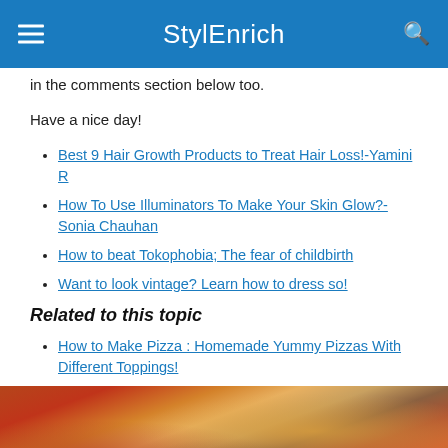StylEnrich
in the comments section below too.
Have a nice day!
Best 9 Hair Growth Products to Treat Hair Loss!-Yamini R
How To Use Illuminators To Make Your Skin Glow?-Sonia Chauhan
How to beat Tokophobia; The fear of childbirth
Want to look vintage? Learn how to dress so!
Related to this topic
How to Make Pizza : Homemade Yummy Pizzas With Different Toppings!
[Figure (photo): Photo of pizza with melted cheese being pulled apart, with toppings including tomatoes, peppers and other vegetables visible]